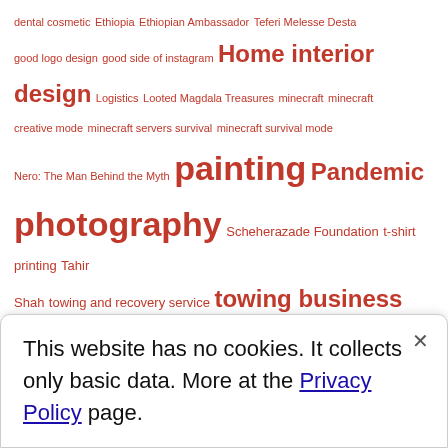dental cosmetic Ethiopia Ethiopian Ambassador Teferi Melesse Desta good logo design good side of instagram Home interior design Logistics Looted Magdala Treasures minecraft minecraft creative mode minecraft servers survival minecraft survival mode Nero: The Man Behind the Myth painting Pandemic photography Scheherazade Foundation t-shirt printing Tahir Shah towing and recovery service towing business towing company towing company logo unique company logo Visual Art visual artist visual arts Wall Art why instagram is better than other social media platforms
Featured Video
This website has no cookies. It collects only basic data. More at the Privacy Policy page.